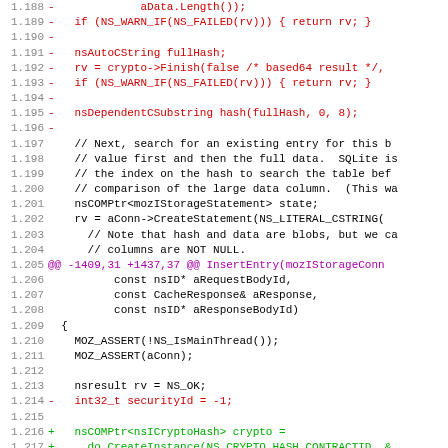[Figure (screenshot): Code diff view showing C++ source code lines 1.188 through 1.219, with removed lines in red, added lines in green, context lines in black/gray, and a diff hunk header in purple.]